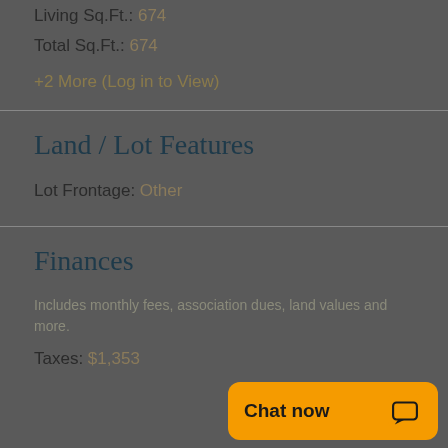Living Sq.Ft.: 674
Total Sq.Ft.: 674
+2 More (Log in to View)
Land / Lot Features
Lot Frontage: Other
Finances
Includes monthly fees, association dues, land values and more.
Taxes: $1,353
[Figure (other): Orange chat widget button with 'Chat now' text and speech bubble icon]